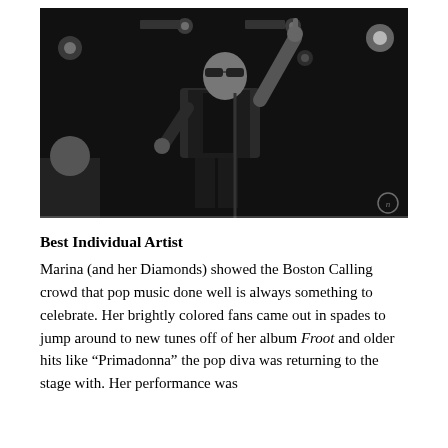[Figure (photo): Black and white concert photograph of a male performer on stage pointing upward with one hand, wearing sunglasses and a dark jacket, with stage lights visible in the background.]
Best Individual Artist
Marina (and her Diamonds) showed the Boston Calling crowd that pop music done well is always something to celebrate. Her brightly colored fans came out in spades to jump around to new tunes off of her album Froot and older hits like “Primadonna” the pop diva was returning to the stage with. Her performance was